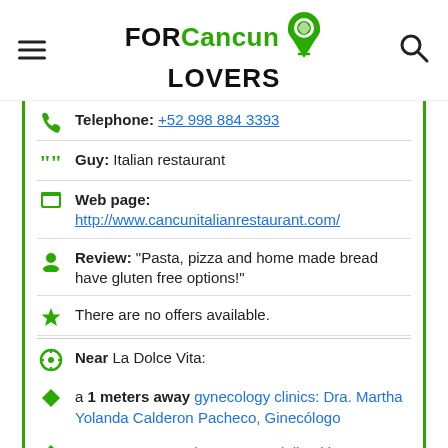FOR Cancun LOVERS
Telephone: +52 998 884 3393
Guy: Italian restaurant
Web page: http://www.cancunitalianrestaurant.com/
Review: "Pasta, pizza and home made bread have gluten free options!"
There are no offers available.
Near La Dolce Vita:
a 1 meters away gynecology clinics: Dra. Martha Yolanda Calderon Pacheco, Ginecólogo
a 9 meters away lawyers specialised in mortgages in: Abogados Cancun RM
a 29 meters away photography specialists: Local Lens -